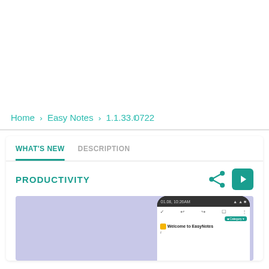Home > Easy Notes > 1.1.33.0722
WHAT'S NEW
DESCRIPTION
PRODUCTIVITY
[Figure (screenshot): App store screenshot showing EasyNotes app page with a phone mockup displaying 'Welcome to EasyNotes' note on a purple/lavender background]